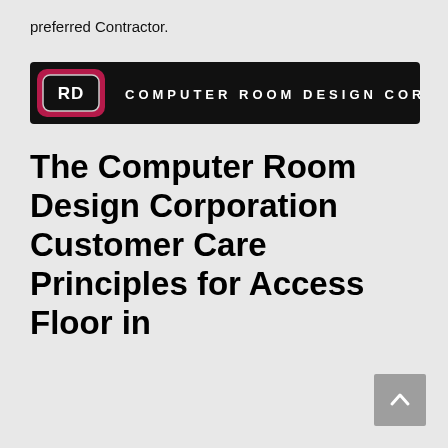preferred Contractor.
[Figure (logo): Computer Room Design Corporation logo: black horizontal bar with red rounded-rectangle RD icon on left and white spaced text 'COMPUTER ROOM DESIGN CORPORATION' on right]
The Computer Room Design Corporation Customer Care Principles for Access Floor in